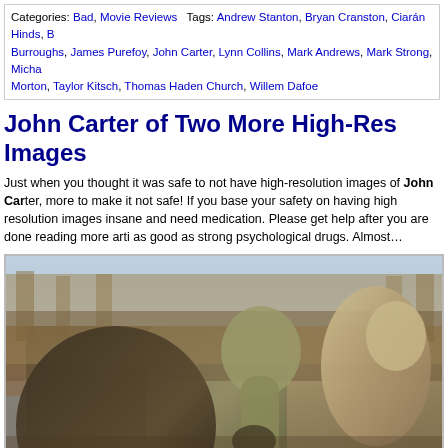Categories: Bad, Movie Reviews   Tags: Andrew Stanton, Bryan Cranston, Ciarán Hinds, [Burroughs], James Purefoy, John Carter, Lynn Collins, Mark Andrews, Mark Strong, [Micha...] Morton, Taylor Kitsch, Thomas Haden Church, Willem Dafoe
John Carter of Two More High-Res Images
Just when you thought it was safe to not have high-resolution images of John Car[ter], more to make it not safe! If you base your safety on having high resolution images[,] insane and need medication. Please get help after you are done reading more arti[cles] as good as strong psychological drugs. Almost…
[Figure (photo): Movie still from John Carter (2012) showing large alien creatures (Tharks) in an ancient Martian city. Dark green alien figure in foreground left, a tan/beige creature in the center-right with ornate harness/armor, and background filled with crowd of armored figures and stone columns.]